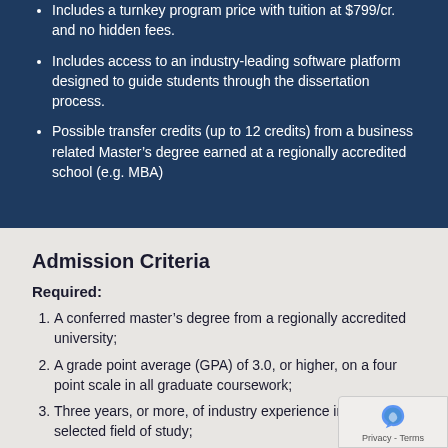Includes a turnkey program price with tuition at $799/cr. and no hidden fees.
Includes access to an industry-leading software platform designed to guide students through the dissertation process.
Possible transfer credits (up to 12 credits) from a business related Master’s degree earned at a regionally accredited school (e.g. MBA)
Admission Criteria
Required:
A conferred master’s degree from a regionally accredited university;
A grade point average (GPA) of 3.0, or higher, on a four point scale in all graduate coursework;
Three years, or more, of industry experience in the selected field of study;